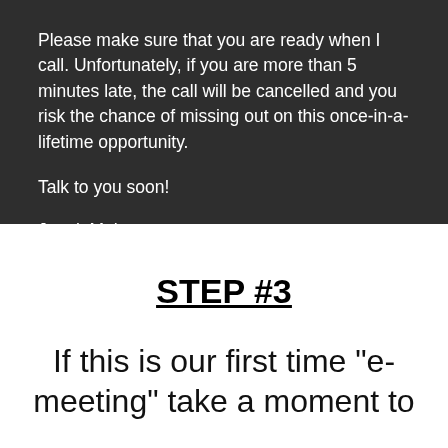Please make sure that you are ready when I call. Unfortunately, if you are more than 5 minutes late, the call will be cancelled and you risk the chance of missing out on this once-in-a-lifetime opportunity.
Talk to you soon!
Janak Mehta
STEP #3
If this is our first time "e-meeting" take a moment to